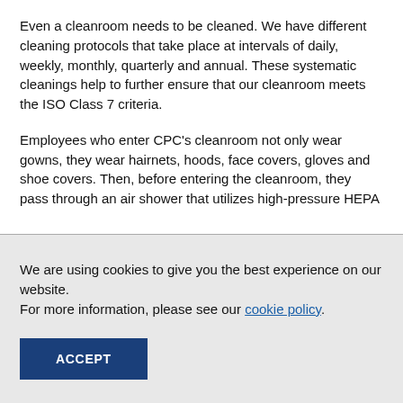Even a cleanroom needs to be cleaned. We have different cleaning protocols that take place at intervals of daily, weekly, monthly, quarterly and annual. These systematic cleanings help to further ensure that our cleanroom meets the ISO Class 7 criteria.
Employees who enter CPC's cleanroom not only wear gowns, they wear hairnets, hoods, face covers, gloves and shoe covers. Then, before entering the cleanroom, they pass through an air shower that utilizes high-pressure HEPA
We are using cookies to give you the best experience on our website.
For more information, please see our cookie policy.
ACCEPT